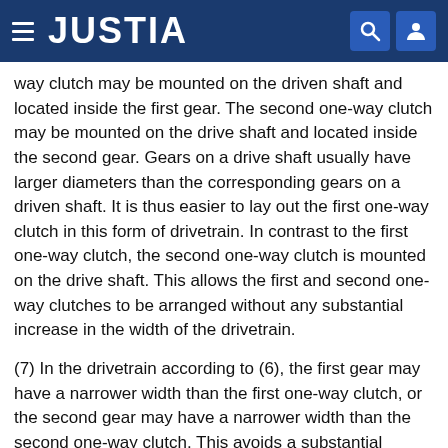JUSTIA
way clutch may be mounted on the driven shaft and located inside the first gear. The second one-way clutch may be mounted on the drive shaft and located inside the second gear. Gears on a drive shaft usually have larger diameters than the corresponding gears on a driven shaft. It is thus easier to lay out the first one-way clutch in this form of drivetrain. In contrast to the first one-way clutch, the second one-way clutch is mounted on the drive shaft. This allows the first and second one-way clutches to be arranged without any substantial increase in the width of the drivetrain.
(7) In the drivetrain according to (6), the first gear may have a narrower width than the first one-way clutch, or the second gear may have a narrower width than the second one-way clutch. This avoids a substantial increase in the width of the drivetrain. “The width of